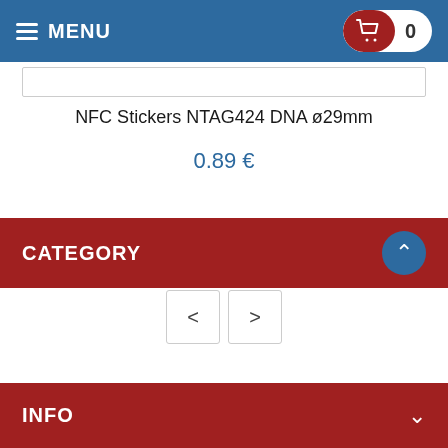≡ MENU | Cart: 0
NFC Stickers NTAG424 DNA ø29mm
0.89 €
Quick view
< >
CATEGORY
INFO